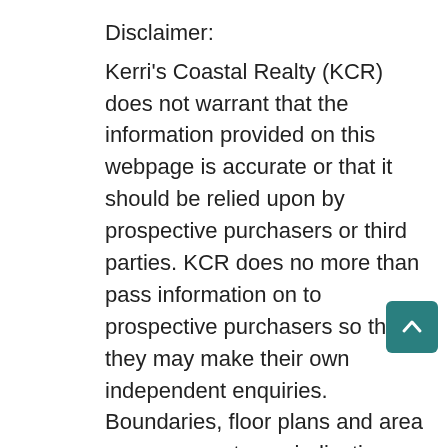Disclaimer:
Kerri's Coastal Realty (KCR) does not warrant that the information provided on this webpage is accurate or that it should be relied upon by prospective purchasers or third parties. KCR does no more than pass information on to prospective purchasers so that they may make their own independent enquiries. Boundaries, floor plans and area measurements are indicative only. Prospective purchasers must exercise due diligence, conduct necessary investigations, make their own enquiries of the council and other relevant bodies, and obtain appropriate advice prior to purchasing this property. KCR, including its officers, Directors and employees, will not be held liable for any errors, misdescriptions or omissions of information in this advertisement. Responsibility to determine the accuracy or validity of the information on this